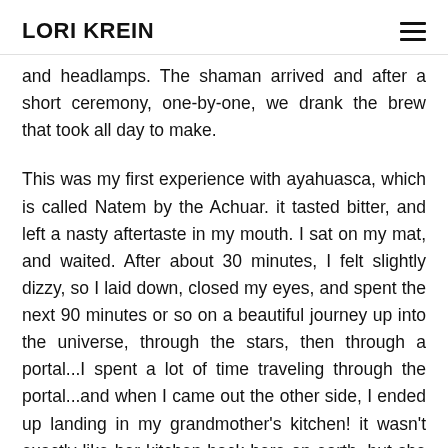LORI KREIN
and headlamps. The shaman arrived and after a short ceremony, one-by-one, we drank the brew that took all day to make.
This was my first experience with ayahuasca, which is called Natem by the Achuar. it tasted bitter, and left a nasty aftertaste in my mouth. I sat on my mat, and waited. After about 30 minutes, I felt slightly dizzy, so I laid down, closed my eyes, and spent the next 90 minutes or so on a beautiful journey up into the universe, through the stars, then through a portal...I spent a lot of time traveling through the portal...and when I came out the other side, I ended up landing in my grandmother's kitchen! it wasn't exactly like her kitchen back here on earth, but she was in fact baking, and was very happy,